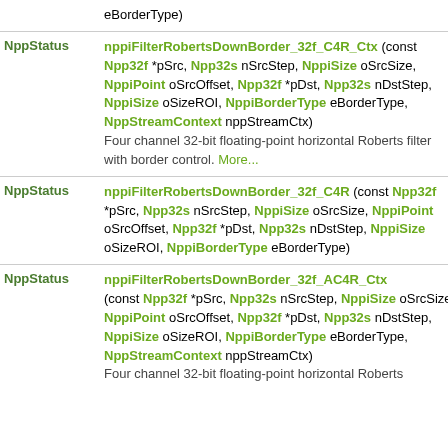| Return Type | Function Signature |
| --- | --- |
| NppStatus | nppiFilterRobertsDownBorder_32f_C4R_Ctx (const Npp32f *pSrc, Npp32s nSrcStep, NppiSize oSrcSize, NppiPoint oSrcOffset, Npp32f *pDst, Npp32s nDstStep, NppiSize oSizeROI, NppiBorderType eBorderType, NppStreamContext nppStreamCtx) — Four channel 32-bit floating-point horizontal Roberts filter with border control. More... |
| NppStatus | nppiFilterRobertsDownBorder_32f_C4R (const Npp32f *pSrc, Npp32s nSrcStep, NppiSize oSrcSize, NppiPoint oSrcOffset, Npp32f *pDst, Npp32s nDstStep, NppiSize oSizeROI, NppiBorderType eBorderType) |
| NppStatus | nppiFilterRobertsDownBorder_32f_AC4R_Ctx (const Npp32f *pSrc, Npp32s nSrcStep, NppiSize oSrcSize, NppiPoint oSrcOffset, Npp32f *pDst, Npp32s nDstStep, NppiSize oSizeROI, NppiBorderType eBorderType, NppStreamContext nppStreamCtx) — Four channel 32-bit floating-point horizontal Roberts |